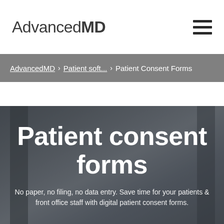AdvancedMD
AdvancedMD › Patient soft... › Patient Consent Forms
Patient consent forms
No paper, no filing, no data entry. Save time for your patients & front office staff with digital patient consent forms.